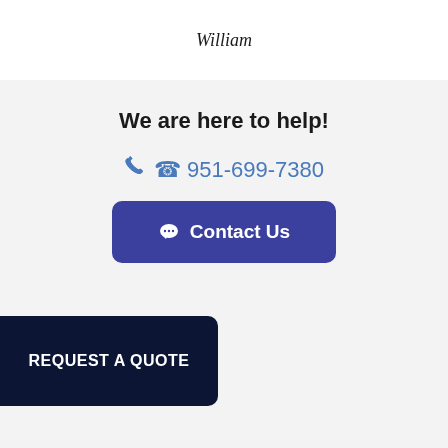William
We are here to help!
951-699-7380
Contact Us
REQUEST A QUOTE